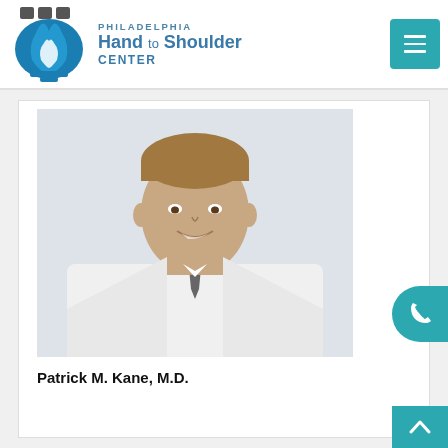[Figure (logo): Philadelphia Hand to Shoulder Center logo with stylized bell/hand icon in blue and gray tones]
Philadelphia Hand to Shoulder Center
[Figure (photo): Professional headshot of Patrick M. Kane, M.D., a smiling man in a white coat and gray tie against a light background]
Patrick M. Kane, M.D.